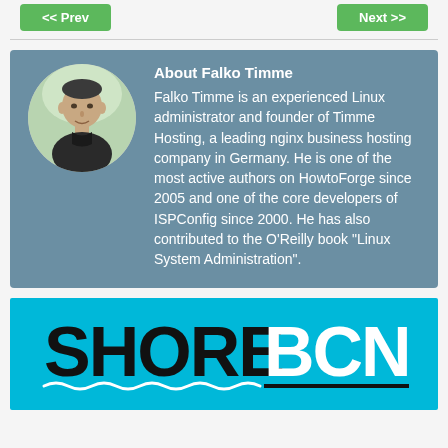<< Prev   Next >>
About Falko Timme
Falko Timme is an experienced Linux administrator and founder of Timme Hosting, a leading nginx business hosting company in Germany. He is one of the most active authors on HowtoForge since 2005 and one of the core developers of ISPConfig since 2000. He has also contributed to the O'Reilly book "Linux System Administration".
[Figure (logo): SHORE BCN logo on cyan/turquoise background with wave underline graphic]